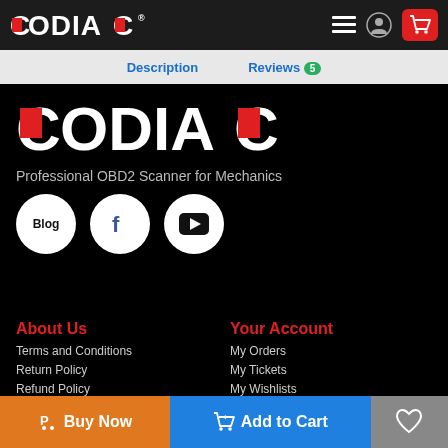CODIAC® navigation bar with hamburger menu, user icon, and cart button
Description | Reviews 5
[Figure (logo): Large CODIAC logo in white text with red accent letters on black background]
Professional OBD2 Scanner for Mechanics
[Figure (infographic): Social media icons: Blog circle, Facebook circle, YouTube circle]
About Us
Terms and Conditions
Return Policy
Refund Policy
Shipping Policy
Privacy Policy
Tracking Your Items
Your Account
My Orders
My Tickets
My Wishlists
Forget your password?
Buy Now | Add to Cart | Wishlist